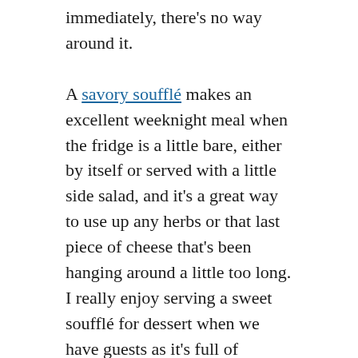immediately, there's no way around it.
A savory soufflé makes an excellent weeknight meal when the fridge is a little bare, either by itself or served with a little side salad, and it's a great way to use up any herbs or that last piece of cheese that's been hanging around a little too long. I really enjoy serving a sweet soufflé for dessert when we have guests as it's full of flavour but doesn't leave you feeling heavy when you leave the table.
Below I'm sharing my top tips and tricks, plus my favourite raspberry soufflé recipe, and I hope you'll try out this this wonderful French dish.